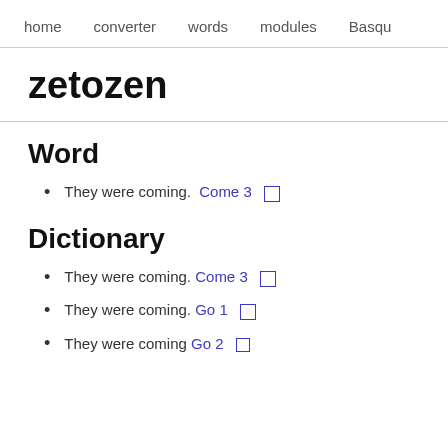home   converter   words   modules   Basqu
zetozen
Word
They were coming. Come 3  ☐
Dictionary
They were coming. Come 3  ☐
They were coming. Go 1  ☐
They were coming Go 2  ☐